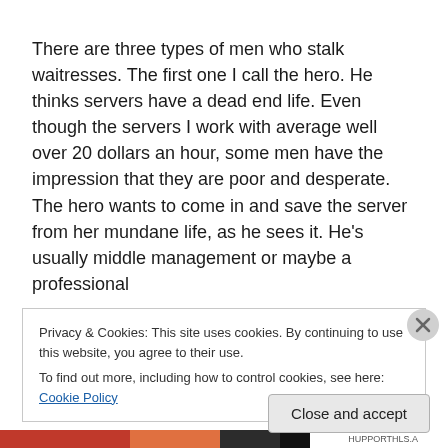There are three types of men who stalk waitresses. The first one I call the hero. He thinks servers have a dead end life. Even though the servers I work with average well over 20 dollars an hour, some men have the impression that they are poor and desperate. The hero wants to come in and save the server from her mundane life, as he sees it. He's usually middle management or maybe a professional
Privacy & Cookies: This site uses cookies. By continuing to use this website, you agree to their use.
To find out more, including how to control cookies, see here: Cookie Policy
Close and accept